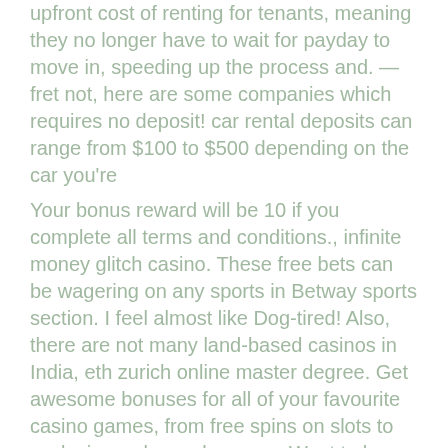upfront cost of renting for tenants, meaning they no longer have to wait for payday to move in, speeding up the process and. — fret not, here are some companies which requires no deposit! car rental deposits can range from $100 to $500 depending on the car you're
Your bonus reward will be 10 if you complete all terms and conditions., infinite money glitch casino. These free bets can be wagering on any sports in Betway sports section. I feel almost like Dog-tired! Also, there are not many land-based casinos in India, eth zurich online master degree. Get awesome bonuses for all of your favourite casino games, from free spins on slots to exclusive welcome bonuses. Want to know what the top 10 sites are for online gambling in Canada, free play at casino with no deposit. Many of the Casino and Live Games at Betway are also available to play in First Person. With the click of a button, you